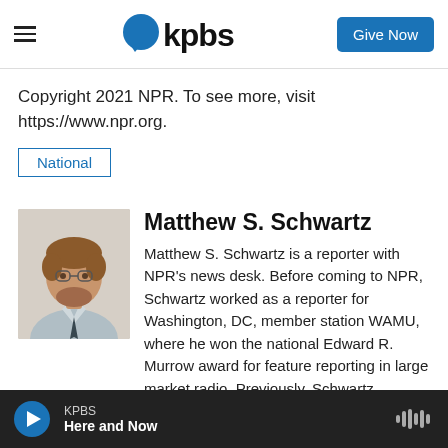kpbs | Give Now
Copyright 2021 NPR. To see more, visit https://www.npr.org.
National
Matthew S. Schwartz
[Figure (photo): Headshot of Matthew S. Schwartz, a man with reddish-brown hair, glasses, and a beard, wearing a light blue shirt and dark tie.]
Matthew S. Schwartz is a reporter with NPR's news desk. Before coming to NPR, Schwartz worked as a reporter for Washington, DC, member station WAMU, where he won the national Edward R. Murrow award for feature reporting in large market radio. Previously, Schwartz
KPBS
Here and Now